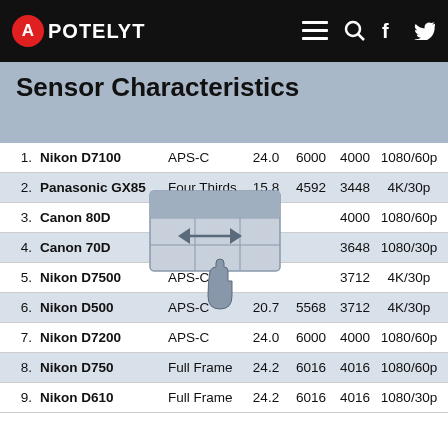APOTELYT
Sensor Characteristics
| # | Camera | Sensor | MP | W | H | Video | DR |  |
| --- | --- | --- | --- | --- | --- | --- | --- | --- |
| 1. | Nikon D7100 | APS-C | 24.0 | 6000 | 4000 | 1080/60p | 24.2 | 13. |
| 2. | Panasonic GX85 | Four Thirds | 15.8 | 4592 | 3448 | 4K/30p | 22.9 | 12. |
| 3. | Canon 80D | APS-C |  |  | 4000 | 1080/60p | 23.6 | 13. |
| 4. | Canon 70D | APS-C |  |  | 3648 | 1080/30p | 22.5 | 11. |
| 5. | Nikon D7500 | APS-C |  |  | 3712 | 4K/30p | 24.3 | 14. |
| 6. | Nikon D500 | APS-C | 20.7 | 5568 | 3712 | 4K/30p | 24.0 | 14. |
| 7. | Nikon D7200 | APS-C | 24.0 | 6000 | 4000 | 1080/60p | 24.5 | 14. |
| 8. | Nikon D750 | Full Frame | 24.2 | 6016 | 4016 | 1080/60p | 24.8 | 14. |
| 9. | Nikon D610 | Full Frame | 24.2 | 6016 | 4016 | 1080/30p | 25.1 | 14. |